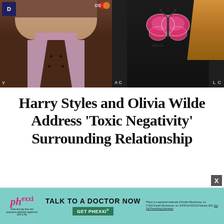[Figure (photo): Two side-by-side celebrity photos: left shows a person in a brown blazer over a pink/mauve top at an awards event with a D logo badge; right shows a person in a black sequined outfit with a large pink butterfly brooch at an event with AC and LC text visible.]
Harry Styles and Olivia Wilde Address 'Toxic Negativity' Surrounding Relationship
[Figure (other): Advertisement banner for Phexxi contraceptive: teal/mint background with Phexxi logo in pink cursive, text 'TALK TO A DOCTOR NOW', green button 'GET PHEXXI®', fine print disclaimers. X close button top right.]